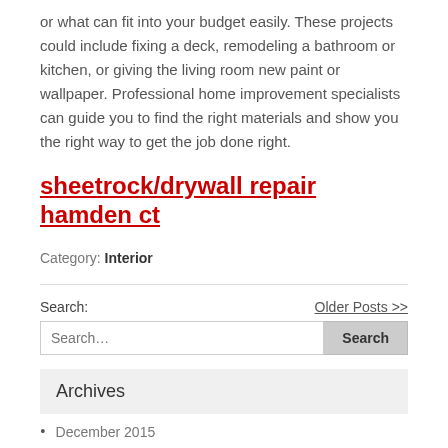or what can fit into your budget easily. These projects could include fixing a deck, remodeling a bathroom or kitchen, or giving the living room new paint or wallpaper. Professional home improvement specialists can guide you to find the right materials and show you the right way to get the job done right.
sheetrock/drywall repair hamden ct
Category: Interior
Search: Older Posts >> Search...
Archives
December 2015